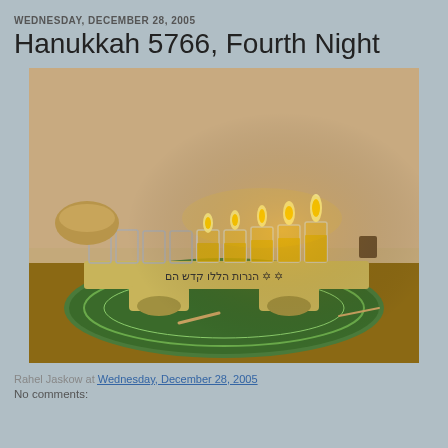WEDNESDAY, DECEMBER 28, 2005
Hanukkah 5766, Fourth Night
[Figure (photo): A Hanukkah menorah (hanukkiah) with glass oil holders on a gold/beige wooden base, with Hebrew text 'HaNeirot Halalu Kodesh Hem' on the base. Four candles are lit on the right side. The menorah sits on a decorative plate surrounded by various objects on a table.]
Rahel Jaskow at Wednesday, December 28, 2005
No comments: